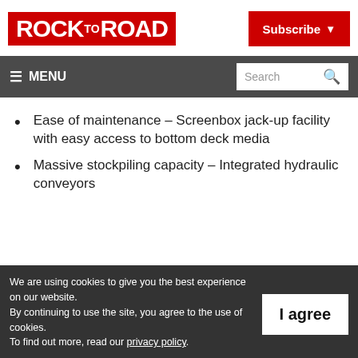ROCK TO ROAD
Subscribe
≡ MENU  Search
Ease of maintenance – Screenbox jack-up facility with easy access to bottom deck media
Massive stockpiling capacity – Integrated hydraulic conveyors
We are using cookies to give you the best experience on our website. By continuing to use the site, you agree to the use of cookies. To find out more, read our privacy policy.